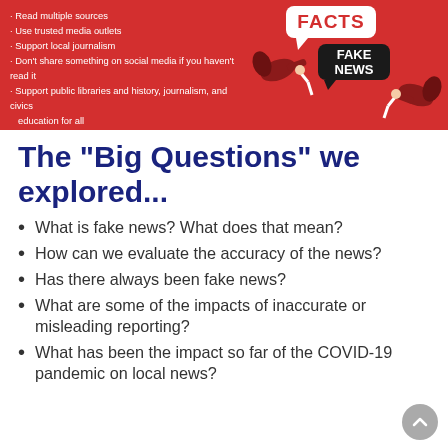[Figure (infographic): Red banner infographic about media literacy with bullet points on left and megaphone/speech bubble graphic on right showing FACTS and FAKE NEWS]
The "Big Questions" we explored...
What is fake news? What does that mean?
How can we evaluate the accuracy of the news?
Has there always been fake news?
What are some of the impacts of inaccurate or misleading reporting?
What has been the impact so far of the COVID-19 pandemic on local news?